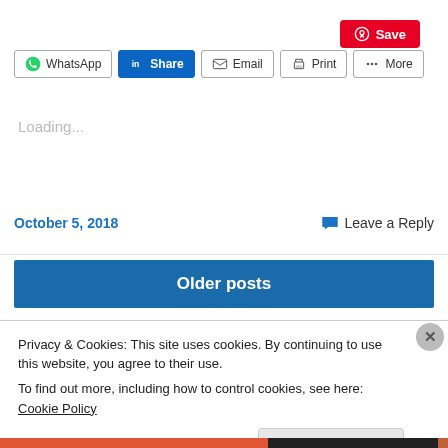[Figure (other): Pinterest Save button (red, top right)]
[Figure (other): Social share buttons row: WhatsApp, LinkedIn Share, Email, Print, More]
Loading...
October 5, 2018      Leave a Reply
Older posts
Privacy & Cookies: This site uses cookies. By continuing to use this website, you agree to their use.
To find out more, including how to control cookies, see here: Cookie Policy
Close and accept